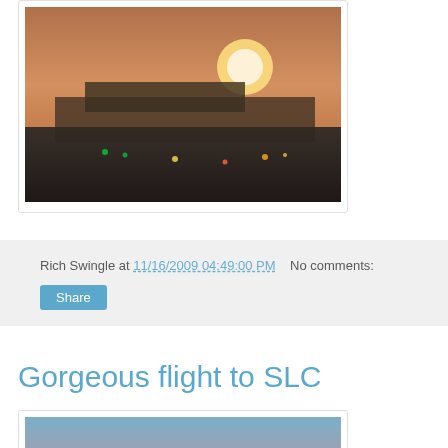[Figure (photo): Photo of airplane on tarmac at dusk/sunset with orange sky and lights visible]
Rich Swingle at 11/16/2009 04:49:00 PM    No comments:
Share
Gorgeous flight to SLC
[Figure (photo): Aerial photo taken from airplane window showing clouds and golden/orange sunset sky]